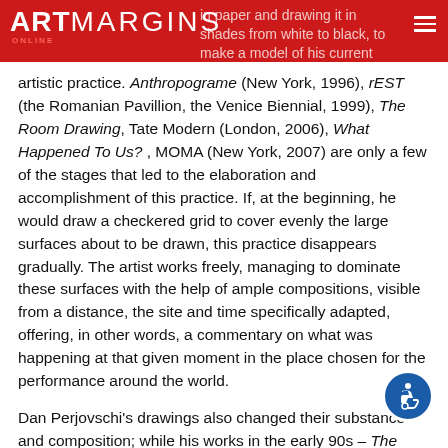ARTMARGINS ONLINE — in paper and drawing it in shades from white to black, to make a model of his current
artistic practice. Anthropograme (New York, 1996), rEST (the Romanian Pavillion, the Venice Biennial, 1999), The Room Drawing, Tate Modern (London, 2006), What Happened To Us?, MOMA (New York, 2007) are only a few of the stages that led to the elaboration and accomplishment of this practice. If, at the beginning, he would draw a checkered grid to cover evenly the large surfaces about to be drawn, this practice disappears gradually. The artist works freely, managing to dominate these surfaces with the help of ample compositions, visible from a distance, the site and time specifically adapted, offering, in other words, a commentary on what was happening at that given moment in the place chosen for the performance around the world.
Dan Perjovschi's drawings also changed their substance and composition; while his works in the early 90s – The Anthropoteque, Confessional, Scan or Manual Scan – preserve the